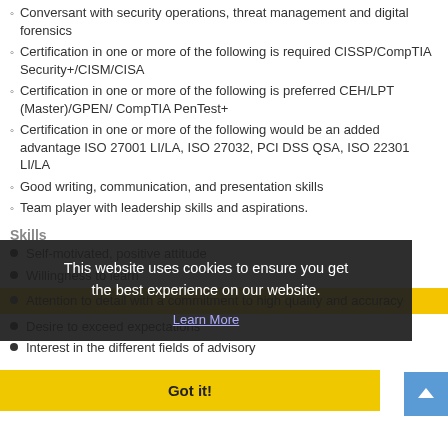Conversant with security operations, threat management and digital forensics
Certification in one or more of the following is required CISSP/CompTIA Security+/CISM/CISA
Certification in one or more of the following is preferred CEH/LPT (Master)/GPEN/ CompTIA PenTest+
Certification in one or more of the following would be an added advantage ISO 27001 LI/LA, ISO 27032, PCI DSS QSA, ISO 22301 LI/LA
Good writing, communication, and presentation skills
Team player with leadership skills and aspirations.
Skills
Self-motivated, positive attitude
Willingness to learn
Attention to detail with a commitment to high quality and accuracy
Desire to exceed expectations
Interest in the different fields of advisory
This website uses cookies to ensure you get the best experience on our website. Learn More
Got it!